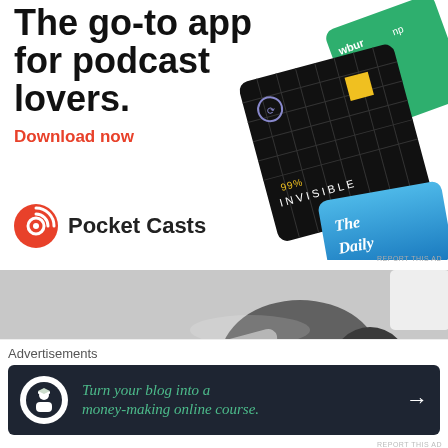[Figure (illustration): Pocket Casts app advertisement showing podcast card artwork (99% Invisible black card, The Daily blue card, wbur green card) with heading 'The go-to app for podcast lovers.' and Download now CTA]
[Figure (photo): Close-up photo of mechanical/robotics parts, grey and dark metal components]
Advertisements
[Figure (illustration): Dark banner ad: 'Turn your blog into a money-making online course.' with Teachable logo icon and arrow]